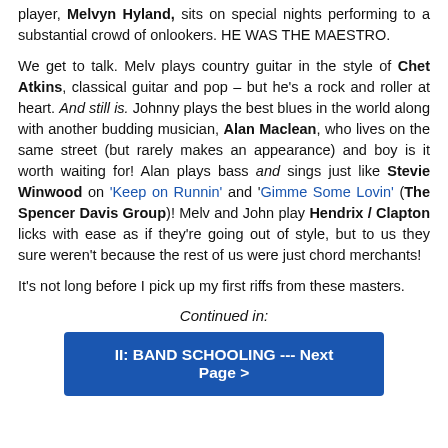player, Melvyn Hyland, sits on special nights performing to a substantial crowd of onlookers. HE WAS THE MAESTRO.

We get to talk. Melv plays country guitar in the style of Chet Atkins, classical guitar and pop – but he's a rock and roller at heart. And still is. Johnny plays the best blues in the world along with another budding musician, Alan Maclean, who lives on the same street (but rarely makes an appearance) and boy is it worth waiting for! Alan plays bass and sings just like Stevie Winwood on 'Keep on Runnin' and 'Gimme Some Lovin' (The Spencer Davis Group)! Melv and John play Hendrix / Clapton licks with ease as if they're going out of style, but to us they sure weren't because the rest of us were just chord merchants!

It's not long before I pick up my first riffs from these masters.
Continued in:
II: BAND SCHOOLING --- Next Page >